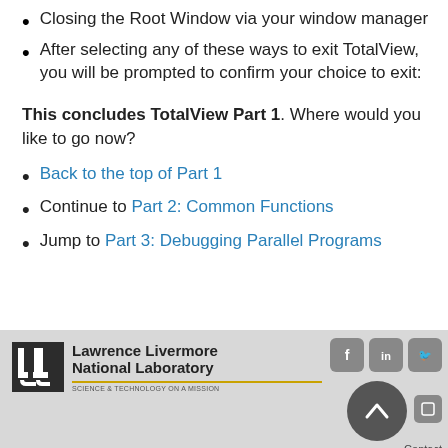Closing the Root Window via your window manager
After selecting any of these ways to exit TotalView, you will be prompted to confirm your choice to exit:
This concludes TotalView Part 1. Where would you like to go now?
Back to the top of Part 1
Continue to Part 2: Common Functions
Jump to Part 3: Debugging Parallel Programs
[Figure (logo): Lawrence Livermore National Laboratory logo with tagline 'Science & Technology on a Mission' and social media icons (Facebook, LinkedIn, Twitter) and a back-to-top button]